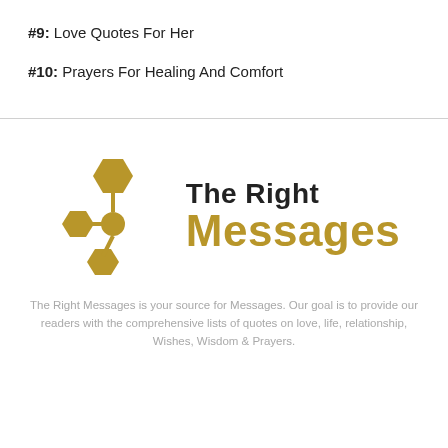#9: Love Quotes For Her
#10: Prayers For Healing And Comfort
[Figure (logo): The Right Messages logo with golden network/share icon and text 'The Right Messages']
The Right Messages is your source for Messages. Our goal is to provide our readers with the comprehensive lists of quotes on love, life, relationship, Wishes, Wisdom & Prayers.